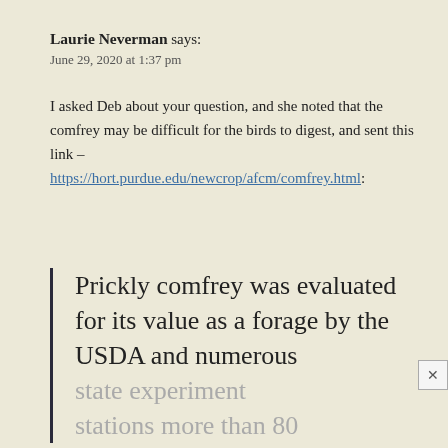Laurie Neverman says:
June 29, 2020 at 1:37 pm
I asked Deb about your question, and she noted that the comfrey may be difficult for the birds to digest, and sent this link – https://hort.purdue.edu/newcrop/afcm/comfrey.html:
Prickly comfrey was evaluated for its value as a forage by the USDA and numerous state experiment stations more than 80